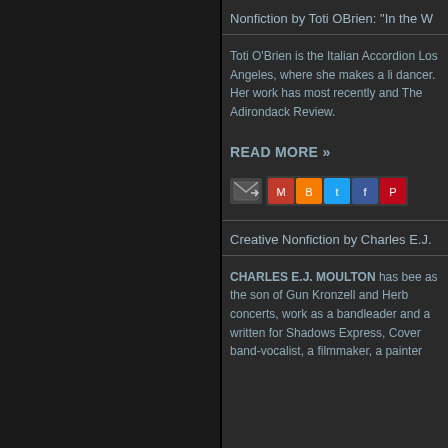Nonfiction by Toti OBrien: "In the W
Toti O'Brien is the Italian Accordion Los Angeles, where she makes a li dancer. Her work has most recently and The Adirondack Review.
READ MORE »
[Figure (other): Email and social sharing icons (email forward icon, Gmail, Blogger, Twitter, Facebook, Pinterest)]
Creative Nonfiction by Charles E.J.
CHARLES E.J. MOULTON has bee as the son of Gun Kronzell and Herb concerts, work as a bandleader and a written for Shadows Express, Cover band-vocalist, a filmmaker, a painter